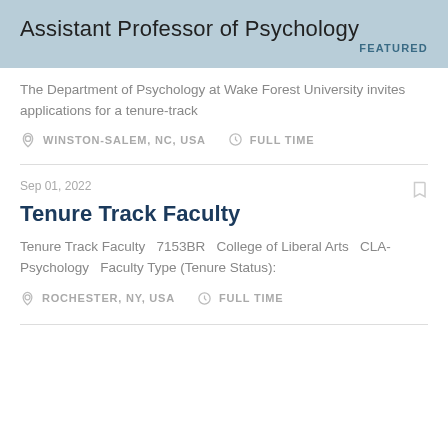Assistant Professor of Psychology
FEATURED
The Department of Psychology at Wake Forest University invites applications for a tenure-track
WINSTON-SALEM, NC, USA   FULL TIME
Sep 01, 2022
Tenure Track Faculty
Tenure Track Faculty   7153BR   College of Liberal Arts   CLA-Psychology   Faculty Type (Tenure Status):
ROCHESTER, NY, USA   FULL TIME